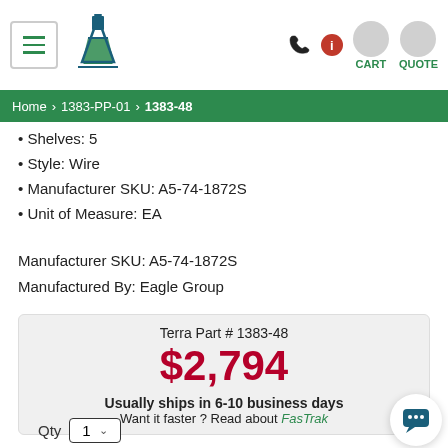Home > 1383-PP-01 > 1383-48
Shelves: 5
Style: Wire
Manufacturer SKU: A5-74-1872S
Unit of Measure: EA
Manufacturer SKU: A5-74-1872S
Manufactured By: Eagle Group
Terra Part # 1383-48
$2,794
Usually ships in 6-10 business days
Want it faster ? Read about FasTrak